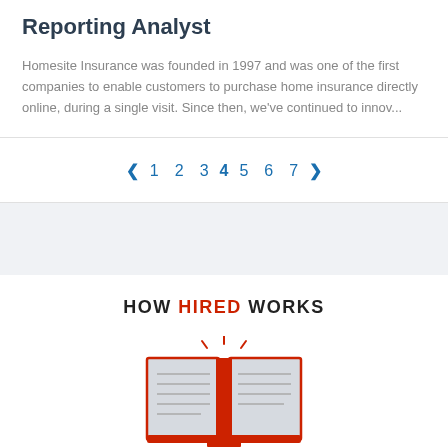Reporting Analyst
Homesite Insurance was founded in 1997 and was one of the first companies to enable customers to purchase home insurance directly online, during a single visit. Since then, we've continued to innov...
❮ 1 2 3 4 5 6 7 ❯
[Figure (other): Gray band / spacer section]
HOW HIRED WORKS
[Figure (illustration): Open book illustration with red cover and radiating lines above, suggesting a glowing or highlighted book]